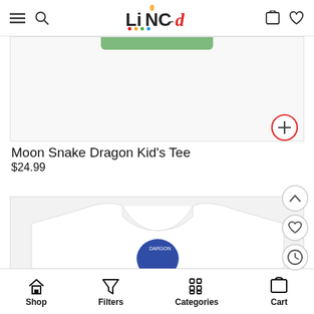LINC-d
[Figure (photo): Top portion of product listing - green bar visible at top of first product image (Moon Snake Dragon Kid's Tee)]
Moon Snake Dragon Kid's Tee
$24.99
[Figure (photo): White kids t-shirt with blue dragon/snake moon design printed on the front, partially visible]
Shop   Filters   Categories   Cart